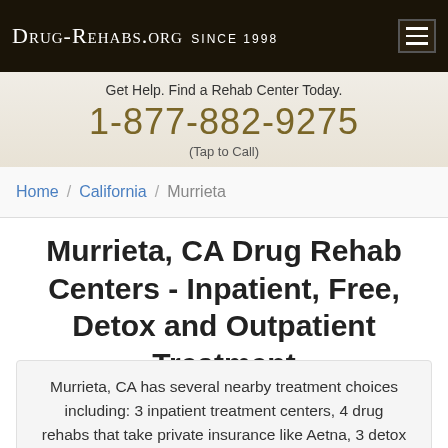Drug-Rehabs.org Since 1998
Get Help. Find a Rehab Center Today.
1-877-882-9275
(Tap to Call)
Home / California / Murrieta
Murrieta, CA Drug Rehab Centers - Inpatient, Free, Detox and Outpatient Treatment
Murrieta, CA has several nearby treatment choices including: 3 inpatient treatment centers, 4 drug rehabs that take private insurance like Aetna, 3 detox centers, 2